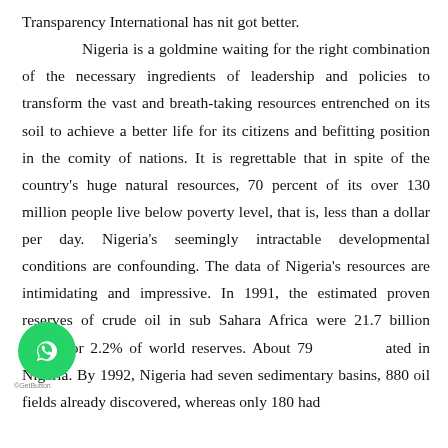Transparency International has nit got better.

Nigeria is a goldmine waiting for the right combination of the necessary ingredients of leadership and policies to transform the vast and breath-taking resources entrenched on its soil to achieve a better life for its citizens and befitting position in the comity of nations. It is regrettable that in spite of the country's huge natural resources, 70 percent of its over 130 million people live below poverty level, that is, less than a dollar per day. Nigeria's seemingly intractable developmental conditions are confounding. The data of Nigeria's resources are intimidating and impressive. In 1991, the estimated proven reserves of crude oil in sub Sahara Africa were 21.7 billion barrels or 2.2% of world reserves. About 79% were located in Nigeria. By 1992, Nigeria had seven sedimentary basins, 880 oil fields already discovered, whereas only 180 had